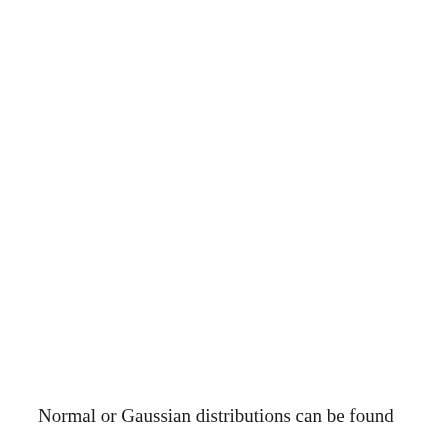Normal or Gaussian distributions can be found